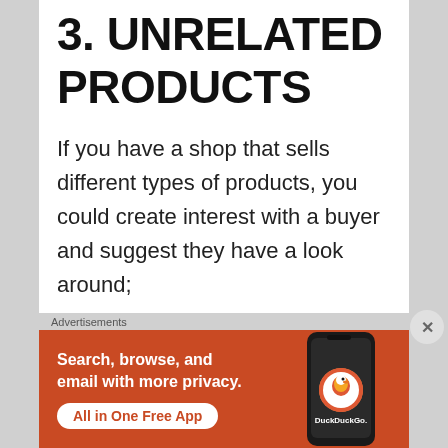3. UNRELATED PRODUCTS
If you have a shop that sells different types of products, you could create interest with a buyer and suggest they have a look around;
“If you like my bracelets, I have a wide range of handmade crochet bags in
[Figure (screenshot): DuckDuckGo advertisement banner: orange background with text 'Search, browse, and email with more privacy.' and button 'All in One Free App', phone mockup on right side with DuckDuckGo logo]